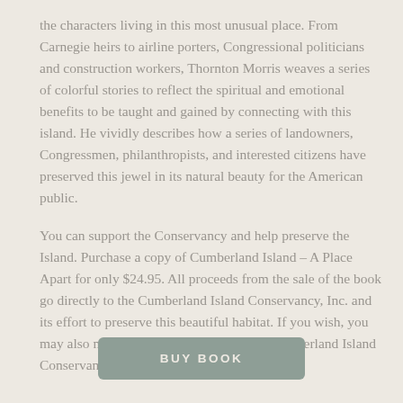the characters living in this most unusual place. From Carnegie heirs to airline porters, Congressional politicians and construction workers, Thornton Morris weaves a series of colorful stories to reflect the spiritual and emotional benefits to be taught and gained by connecting with this island. He vividly describes how a series of landowners, Congressmen, philanthropists, and interested citizens have preserved this jewel in its natural beauty for the American public.
You can support the Conservancy and help preserve the Island. Purchase a copy of Cumberland Island – A Place Apart for only $24.95. All proceeds from the sale of the book go directly to the Cumberland Island Conservancy, Inc. and its effort to preserve this beautiful habitat. If you wish, you may also make a donation directly to the Cumberland Island Conservancy.
BUY BOOK